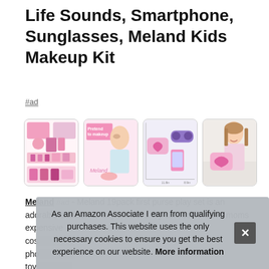Life Sounds, Smartphone, Sunglasses, Meland Kids Makeup Kit
#ad
[Figure (photo): Four product images of Meland Kids Makeup Kit showing toy contents, a girl playing with makeup, product dimensions, and a girl holding a pink purse]
Meland #ad - Meland 19pack first purse play set is an adorable addition to any toddler's toy collection. Save moms expensive cos... pho... toy... Incl...
As an Amazon Associate I earn from qualifying purchases. This website uses the only necessary cookies to ensure you get the best experience on our website. More information